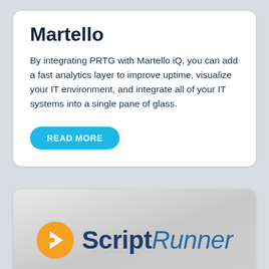Martello
By integrating PRTG with Martello iQ, you can add a fast analytics layer to improve uptime, visualize your IT environment, and integrate all of your IT systems into a single pane of glass.
READ MORE
[Figure (logo): ScriptRunner logo: orange circle with white chevron/arrow icon on left, bold dark blue 'Script' text and italic medium blue 'Runner' text on right]